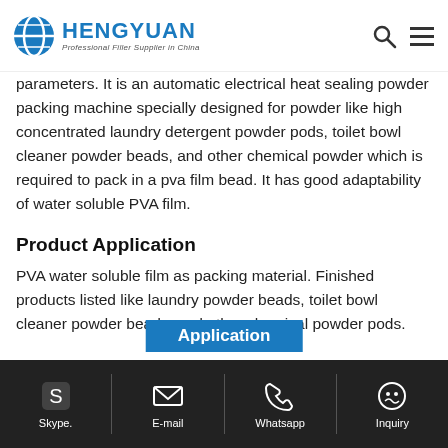HENGYUAN - Professional Filler Supplier in China
parameters. It is an automatic electrical heat sealing powder packing machine specially designed for powder like high concentrated laundry detergent powder pods, toilet bowl cleaner powder beads, and other chemical powder which is required to pack in a pva film bead. It has good adaptability of water soluble PVA film.
Product Application
PVA water soluble film as packing material. Finished products listed like laundry powder beads, toilet bowl cleaner powder beads, and other chemical powder pods.
Application
Skype.  E-mail  Whatsapp  Inquiry